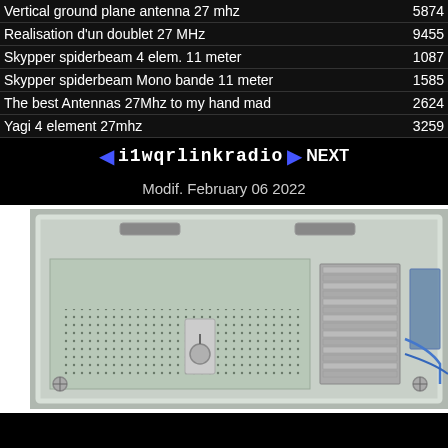| Title | Views |
| --- | --- |
| Vertical ground plane antenna 27 mhz | 5874 |
| Realisation d'un doublet 27 MHz | 9455 |
| Skypper spiderbeam 4 elem. 11 meter | 1087 |
| Skypper spiderbeam Mono bande 11 meter | 1585 |
| The best Antennas 27Mhz to my hand mad | 2624 |
| Yagi 4 element 27mhz | 3259 |
◄ i1wqrlinkradio ► NEXT
Modif. February 06 2022
[Figure (photo): Interior of an electronics enclosure showing a PCB with perforated board, coil/inductor components, a connector/potentiometer, and wiring inside a gray plastic housing.]